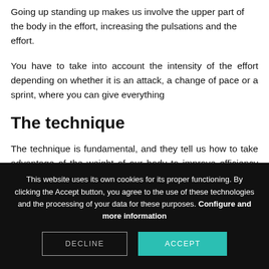Going up standing up makes us involve the upper part of the body in the effort, increasing the pulsations and the effort.
You have to take into account the intensity of the effort depending on whether it is an attack, a change of pace or a sprint, where you can give everything
The technique
The technique is fundamental, and they tell us how to take advantage of the weight of our body to improve efficiency and minimize effort
This website uses its own cookies for its proper functioning. By clicking the Accept button, you agree to the use of these technologies and the processing of your data for these purposes. Configure and more information